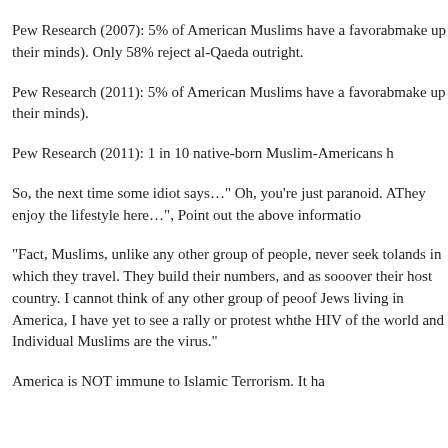Pew Research (2007): 5% of American Muslims have a favorable view of al-Qaeda (37% couldn't make up their minds). Only 58% reject al-Qaeda outright.
Pew Research (2011): 5% of American Muslims have a favorable view of al-Qaeda (27% couldn't make up their minds).
Pew Research (2011): 1 in 10 native-born Muslim-Americans have a favorable view of al-Qaeda.
So, the next time some idiot says…" Oh, you're just paranoid. All Muslims are peaceful. They enjoy the lifestyle here…", Point out the above information.
“Fact, Muslims, unlike any other group of people, never seek to assimilate into the lands in which they travel. They build their numbers, and as soon as possible, take over their host country. I cannot think of any other group of people who do this. Lots of Jews living in America, I have yet to see a rally or protest where…Islam is the HIV of the world and Individual Muslims are the virus.”
America is NOT immune to Islamic Terrorism. It has...